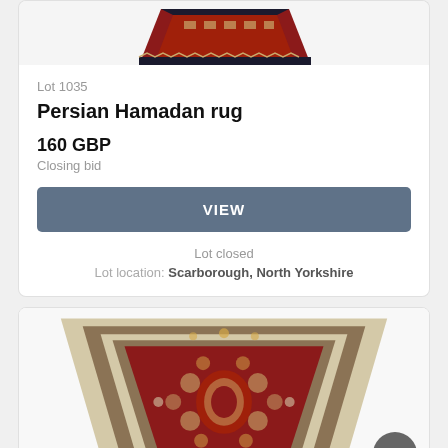[Figure (photo): Partial view of a decorative rug at the top of the first card]
Lot 1035
Persian Hamadan rug
160 GBP
Closing bid
VIEW
Lot closed
Lot location: Scarborough, North Yorkshire
[Figure (photo): Partial view of a large red floral Persian rug in the second card]